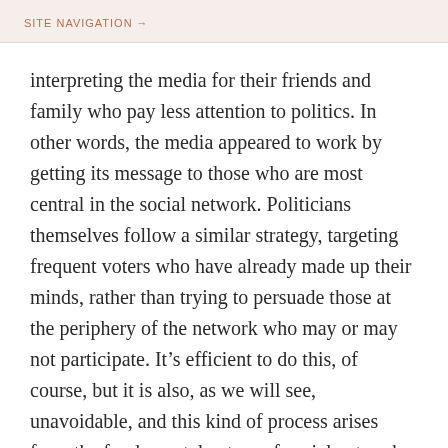SITE NAVIGATION →
interpreting the media for their friends and family who pay less attention to politics. In other words, the media appeared to work by getting its message to those who are most central in the social network. Politicians themselves follow a similar strategy, targeting frequent voters who have already made up their minds, rather than trying to persuade those at the periphery of the network who may or may not participate. It's efficient to do this, of course, but it is also, as we will see, unavoidable, and this kind of process arises from the fundamental nature of social networks.
Later research by Robert Huckfeldt and John Sprague in the 1970s and 1980s would innovate on these earlier designs. Their voting studies in South Bend, Indiana,